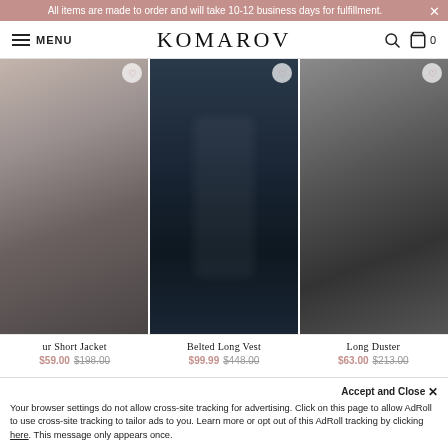All items are made to order and will take 10-12 business days for fulfillment.
KOMAROV — MENU — Search — Cart 0
[Figure (screenshot): Three product photos of black women's clothing items displayed side by side in a grid layout]
ur Short Jacket $59.00 $198.00
Belted Long Vest $99.99 $448.00
Long Duster $63.00 $213.00
Accept and Close ✕
Your browser settings do not allow cross-site tracking for advertising. Click on this page to allow AdRoll to use cross-site tracking to tailor ads to you. Learn more or opt out of this AdRoll tracking by clicking here. This message only appears once.
Sign up for updates! Subscribe Today!